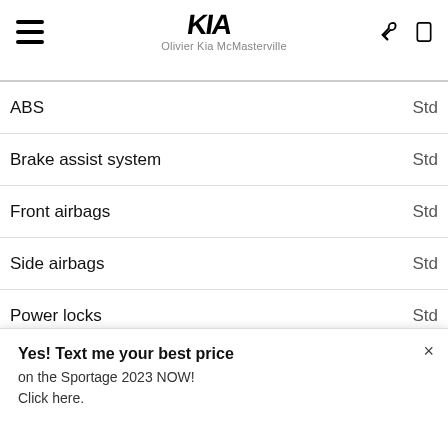Olivier Kia McMasterville
ABS — Std
Brake assist system — Std
Front airbags — Std
Side airbags — Std
Power locks — Std
Comfort and Convenience
Air conditioning — Std
Power windows — Std
Pa... — n/a
Cru... — Std
Audio and Communication
VALUE YOUR TRADE!
Yes! Text me your best price on the Sportage 2023 NOW! Click here.